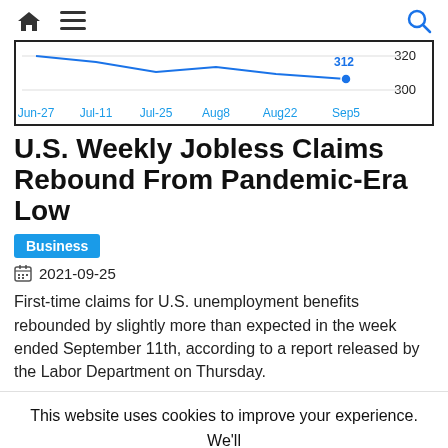Navigation bar with home, menu, and search icons
[Figure (line-chart): Partial line chart showing weekly jobless claims ending at 312 near Sep5, with y-axis values 300 and 320 visible]
U.S. Weekly Jobless Claims Rebound From Pandemic-Era Low
Business
2021-09-25
First-time claims for U.S. unemployment benefits rebounded by slightly more than expected in the week ended September 11th, according to a report released by the Labor Department on Thursday.
This website uses cookies to improve your experience. We'll assume you're ok with this, but you can opt-out if you wish.
Cookie settings  ACCEPT